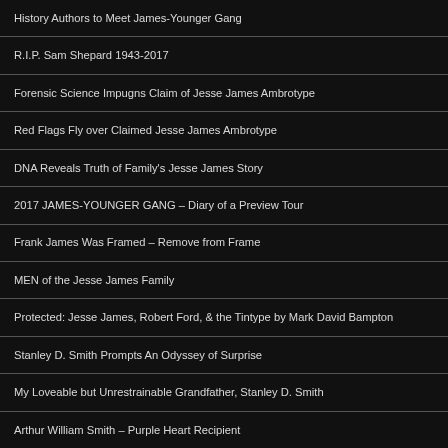History Authors to Meet James-Younger Gang
R.I.P. Sam Shepard 1943-2017
Forensic Science Impugns Claim of Jesse James Ambrotype
Red Flags Fly over Claimed Jesse James Ambrotype
DNA Reveals Truth of Family's Jesse James Story
2017 JAMES-YOUNGER GANG – Diary of a Preview Tour
Frank James Was Framed – Remove from Frame
MEN of the Jesse James Family
Protected: Jesse James, Robert Ford, & the Tintype by Mark David Bampton
Stanley D. Smith Prompts An Odyssey of Surprise
My Loveable but Unrestrainable Grandfather, Stanley D. Smith
Arthur William Smith – Purple Heart Recipient